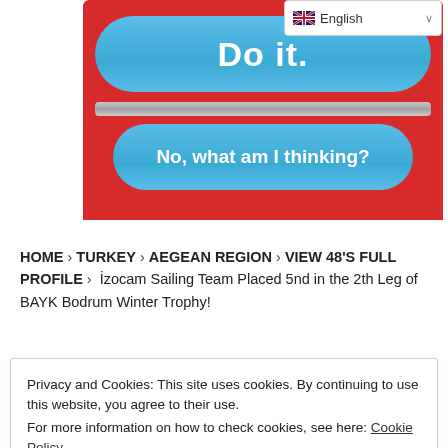[Figure (screenshot): Website screenshot showing a red banner with two blue rounded buttons ('Do it.' and 'No, what am I thinking?'), a language selector dropdown showing English in the top right, breadcrumb navigation, and a cookie consent popup at the bottom.]
HOME > TURKEY > AEGEAN REGION > VIEW 48'S FULL PROFILE > İzocam Sailing Team Placed 5nd in the 2th Leg of BAYK Bodrum Winter Trophy!
Privacy and Cookies: This site uses cookies. By continuing to use this website, you agree to their use.
For more information on how to check cookies, see here: Cookie Policy
OK